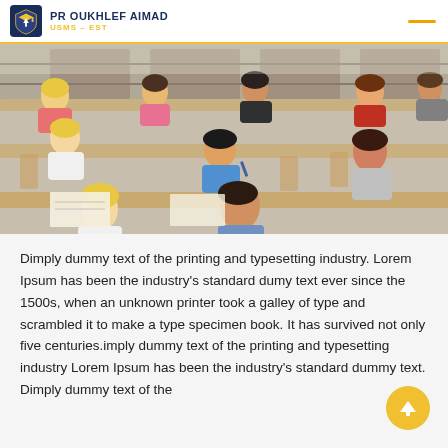PR OUKHLEF AIMAD / USMS - EST
[Figure (photo): Students sitting in tiered lecture hall seating, writing and studying, viewed from the front at an angle. Multiple rows visible with students of various backgrounds focused on their work.]
Dimply dummy text of the printing and typesetting industry. Lorem Ipsum has been the industry's standard dumy text ever since the 1500s, when an unknown printer took a galley of type and scrambled it to make a type specimen book. It has survived not only five centuries.imply dummy text of the printing and typesetting industry Lorem Ipsum has been the industry's standard dummy text. Dimply dummy text of the